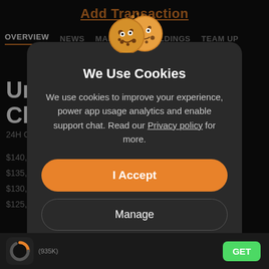Add Transaction
OVERVIEW   NEWS   MARKETS   HOLDINGS   TEAM UP
Unis
Cha
24H C
$140,000,C
$135,000,C
$130,000,C
$125,000,C
[Figure (screenshot): Cookie consent modal dialog with cookie emoji illustration, title 'We Use Cookies', descriptive text about cookie usage with Privacy policy link, I Accept button in orange, and Manage button with outline style]
We Use Cookies
We use cookies to improve your experience, power app usage analytics and enable support chat. Read our Privacy policy for more.
I Accept
Manage
(935K)